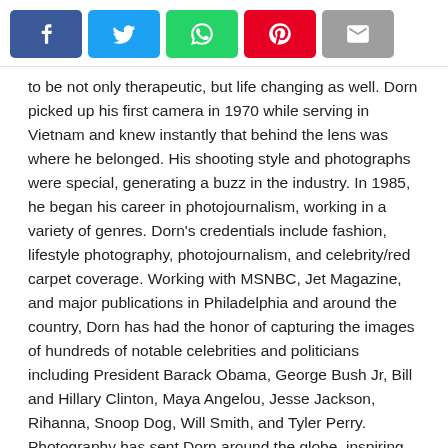[Figure (other): Social media sharing buttons: Facebook (blue), Twitter (light blue), WhatsApp (green), Pinterest (red), Email (gray)]
to be not only therapeutic, but life changing as well. Dorn picked up his first camera in 1970 while serving in Vietnam and knew instantly that behind the lens was where he belonged. His shooting style and photographs were special, generating a buzz in the industry. In 1985, he began his career in photojournalism, working in a variety of genres. Dorn's credentials include fashion, lifestyle photography, photojournalism, and celebrity/red carpet coverage. Working with MSNBC, Jet Magazine, and major publications in Philadelphia and around the country, Dorn has had the honor of capturing the images of hundreds of notable celebrities and politicians including President Barack Obama, George Bush Jr, Bill and Hillary Clinton, Maya Angelou, Jesse Jackson, Rihanna, Snoop Dog, Will Smith, and Tyler Perry. Photography has sent Dorn around the globe, inspiring his passion for civil activism. In 1995, Dorn assembled and led a group of